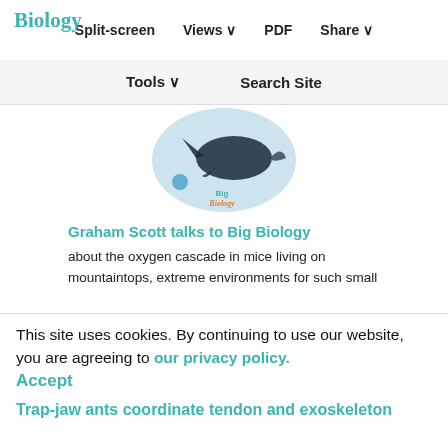Biology | Split-screen | Views | PDF | Share
Tools | Search Site
[Figure (illustration): Big Biology podcast logo showing a blue whale silhouette with 'Big Biology' text in teal and orange]
Graham Scott talks to Big Biology about the oxygen cascade in mice living on mountaintops, extreme environments for such small organisms. In this JEB-sponsored episode, they discuss the concept of symmorphosis and the evolution of the oxygen cascade.
This site uses cookies. By continuing to use our website, you are agreeing to our privacy policy. Accept
Trap-jaw ants coordinate tendon and exoskeleton